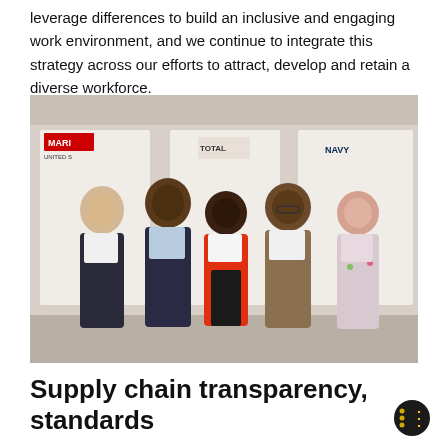leverage differences to build an inclusive and engaging work environment, and we continue to integrate this strategy across our efforts to attract, develop and retain a diverse workforce.
[Figure (photo): Five people posing together indoors in front of display boards with military branch logos (Marines, Coast Guard, Navy). A woman in a red jacket stands in the center, flanked by two men in dark suits on the left and a man in a tan blazer and a woman in a floral blouse on the right.]
Supply chain transparency, standards